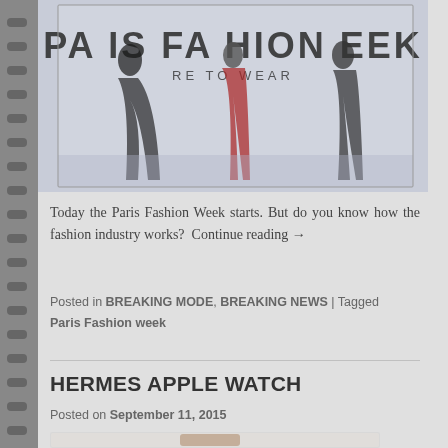[Figure (photo): Paris Fashion Week Ready to Wear banner with models walking]
Today the Paris Fashion Week starts. But do you know how the fashion industry works?  Continue reading →
Posted in BREAKING MODE, BREAKING NEWS | Tagged Paris Fashion week
HERMES APPLE WATCH
Posted on September 11, 2015
[Figure (photo): Hermes Apple Watch product photo]